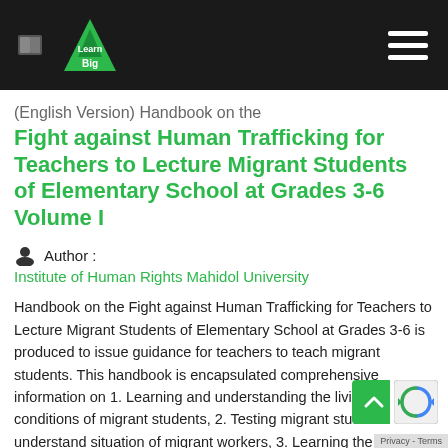LearnBig — navigation header with logo and hamburger menu
(English Version) Handbook on the Fight against Human Trafficking for Teachers to Lecture Migrant Students of Elementary School at Grades 3-6 Volume I
Author :
Institute of Human Rights Mahidol University
Handbook on the Fight against Human Trafficking for Teachers to Lecture Migrant Students of Elementary School at Grades 3-6 is produced to issue guidance for teachers to teach migrant students. This handbook is encapsulated comprehensive information on 1. Learning and understanding the living conditions of migrant students, 2. Testing migrant students to understand situation of migrant workers, 3. Learning the